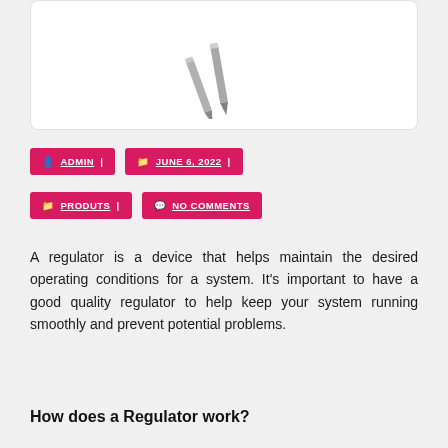[Figure (photo): Partial view of metal regulator or pencil-like device shown at top of white card]
ADMIN | JUNE 6, 2022 | PRODUTS | NO COMMENTS
A regulator is a device that helps maintain the desired operating conditions for a system. It's important to have a good quality regulator to help keep your system running smoothly and prevent potential problems.
How does a Regulator work?